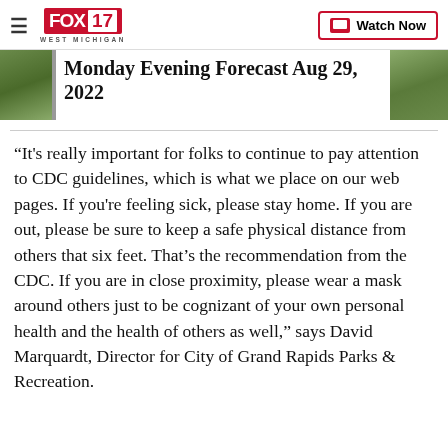FOX 17 WEST MICHIGAN | Watch Now
Monday Evening Forecast Aug 29, 2022
“It's really important for folks to continue to pay attention to CDC guidelines, which is what we place on our web pages. If you're feeling sick, please stay home. If you are out, please be sure to keep a safe physical distance from others that six feet. That’s the recommendation from the CDC. If you are in close proximity, please wear a mask around others just to be cognizant of your own personal health and the health of others as well,” says David Marquardt, Director for City of Grand Rapids Parks & Recreation.